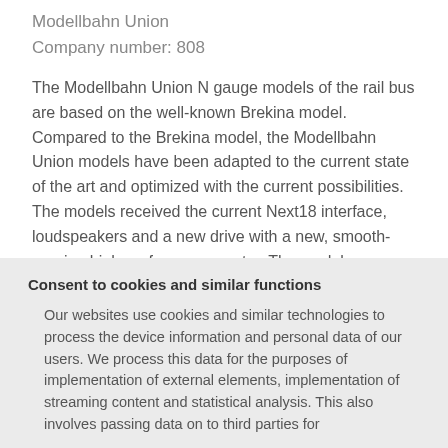Modellbahn Union
Company number: 808
The Modellbahn Union N gauge models of the rail bus are based on the well-known Brekina model. Compared to the Brekina model, the Modellbahn Union models have been adapted to the current state of the art and optimized with the current possibilities. The models received the current Next18 interface, loudspeakers and a new drive with a new, smooth-running high-performance motor. The models are analog, DCC / SX digital with and without sound. We install an ESU LokSound 5 decoder with impressive original driving
Consent to cookies and similar functions
Our websites use cookies and similar technologies to process the device information and personal data of our users. We process this data for the purposes of implementation of external elements, implementation of streaming content and statistical analysis. This also involves passing data on to third parties for